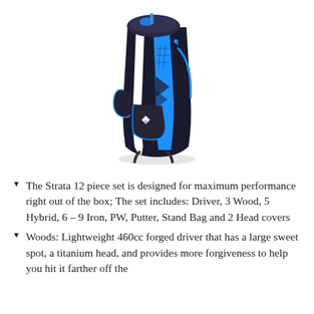[Figure (photo): A black and blue Strata golf stand bag with blue zippers, white stripe accents, and Strata branding logo on the front pocket.]
The Strata 12 piece set is designed for maximum performance right out of the box; The set includes: Driver, 3 Wood, 5 Hybrid, 6 – 9 Iron, PW, Putter, Stand Bag and 2 Head covers
Woods: Lightweight 460cc forged driver that has a large sweet spot, a titanium head, and provides more forgiveness to help you hit it farther off the